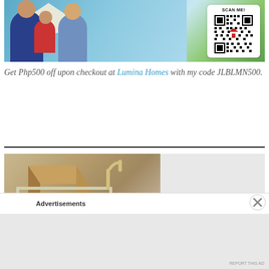[Figure (photo): Family photo with a man, woman, and baby with a QR code in the top right corner labeled SCAN ME!]
Get Php500 off upon checkout at Lumina Homes with my code JLBLMN500.
[Figure (photo): Shopping cart with cardboard boxes and 15% text visible in red]
Advertisements